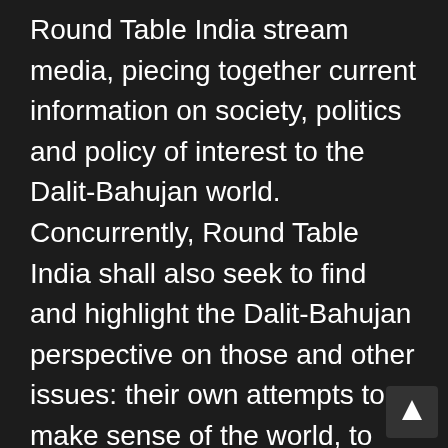Round Table India stream media, piecing together current information on society, politics and policy of interest to the Dalit-Bahujan world. Concurrently, Round Table India shall also seek to find and highlight the Dalit-Bahujan perspective on those and other issues: their own attempts to make sense of the world, to interpret it. In short, Round Table India shall function as an uniquely Dalit-Bahujan media actor that perceives through their eyes and ears, and speaks through their voice.

To its readers and users, Round Table India shall be a platform, a resource and a tool. As a platform, it offers an integrated online space the widest expression of Dalit-Bahujan voice The readers and users...